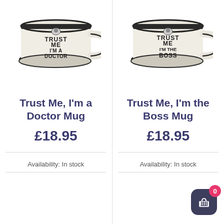[Figure (photo): A ceramic mug with 'TRUST ME I'M A DOCTOR' printed on it in bold black text, white mug with dark rim and base]
[Figure (photo): A ceramic mug with 'TRUST ME I'M THE BOSS' printed on it in bold black text, white mug with dark rim and base]
Trust Me, I'm a Doctor Mug
Trust Me, I'm the Boss Mug
£18.95
£18.95
Availability: In stock
Availability: In stock